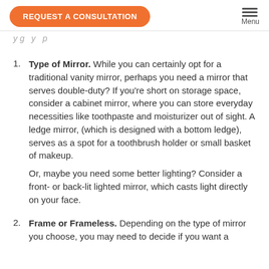REQUEST A CONSULTATION | Menu
y g y p
Type of Mirror. While you can certainly opt for a traditional vanity mirror, perhaps you need a mirror that serves double-duty? If you're short on storage space, consider a cabinet mirror, where you can store everyday necessities like toothpaste and moisturizer out of sight. A ledge mirror, (which is designed with a bottom ledge), serves as a spot for a toothbrush holder or small basket of makeup.

Or, maybe you need some better lighting? Consider a front- or back-lit lighted mirror, which casts light directly on your face.
Frame or Frameless. Depending on the type of mirror you choose, you may need to decide if you want a